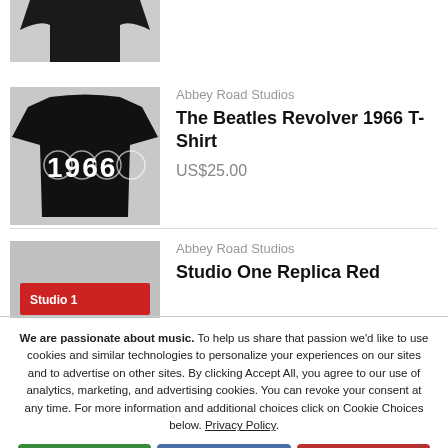[Figure (photo): Partial view of a black t-shirt product image at top of page (cropped)]
Abbey Road Studios
The Beatles Revolver 1966 T-Shirt
US$25.00
[Figure (photo): Black t-shirt with '1966' printed in large white/grey text with circular design elements]
Abbey Road Studios
Studio One Replica Red
[Figure (photo): Partial view of a Studio 1 sign with red background and white text]
We are passionate about music. To help us share that passion we'd like to use cookies and similar technologies to personalize your experiences on our sites and to advertise on other sites. By clicking Accept All, you agree to our use of analytics, marketing, and advertising cookies. You can revoke your consent at any time. For more information and additional choices click on Cookie Choices below. Privacy Policy.
Accept All
Cookie Choices
Decline All